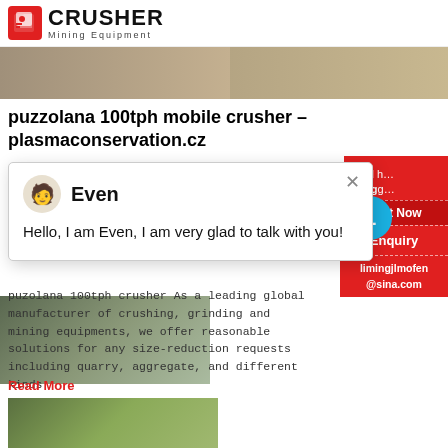CRUSHER Mining Equipment
[Figure (photo): Top image strip showing a construction/mining site road surface]
puzzolana 100tph mobile crusher - plasmaconservation.cz
puzzolana 100tph mobile crusher
[Figure (screenshot): Chat popup with agent 'Even' saying: Hello, I am Even, I am very glad to talk with you!]
[Figure (photo): Middle image of a mining/industrial facility]
puzolana 100tph crusher As a leading global manufacturer of crushing, grinding and mining equipments, we offer reasonable solutions for any size-reduction requirements including quarry, aggregate, and different kinds
Read More
[Figure (photo): Bottom thumbnail image with green vegetation/palm trees]